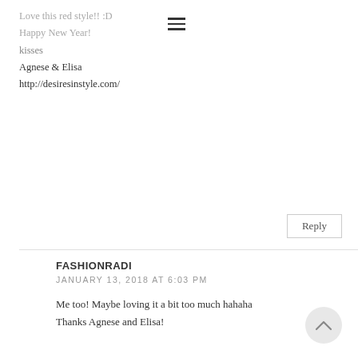Love this red style!! :D
Happy New Year!
kisses
Agnese & Elisa
http://desiresinstyle.com/
Reply
FASHIONRADI
JANUARY 13, 2018 AT 6:03 PM
Me too! Maybe loving it a bit too much hahaha Thanks Agnese and Elisa!
Reply